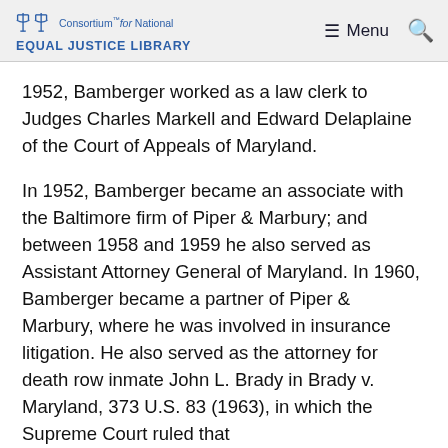Consortium for National Equal Justice Library — Menu
1952, Bamberger worked as a law clerk to Judges Charles Markell and Edward Delaplaine of the Court of Appeals of Maryland.
In 1952, Bamberger became an associate with the Baltimore firm of Piper & Marbury; and between 1958 and 1959 he also served as Assistant Attorney General of Maryland. In 1960, Bamberger became a partner of Piper & Marbury, where he was involved in insurance litigation. He also served as the attorney for death row inmate John L. Brady in Brady v. Maryland, 373 U.S. 83 (1963), in which the Supreme Court ruled that